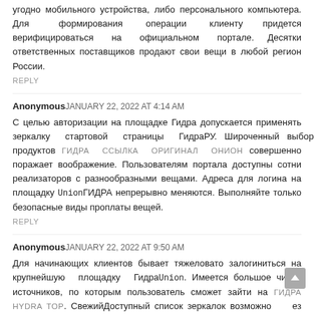угодно мобильного устройства, либо персонального компьютера. Для формирования операции клиенту придется верифицироваться на официальном портале. Десятки ответственных поставщиков продают свои вещи в любой регион России.
REPLY
AnonymousJANUARY 22, 2022 AT 4:14 AM
С целью авторизации на площадке Гидра допускается применять зеркалку стартовой страницы ГидраРУ. Широченный выбор продуктов ГИДРА ССЫЛКА ОРИГИНАЛ ОНИОН совершенно поражает воображение. Пользователям портала доступны сотни реализаторов с разнообразными вещами. Адреса для логина на площадку UnionГИДРА непрерывно меняются. Выполняйте только безопасные виды проплаты вещей.
REPLY
AnonymousJANUARY 22, 2022 AT 9:50 AM
Для начинающих клиентов бывает тяжеловато залогиниться на крупнейшую площадку ГидраUnion. Имеется большое число источников, по которым пользователь сможет зайти на ГИДРА HYDRA TOP. СвежийДоступный список зеркалок возможно без проблем найти в глобальной сети. Как залогиниться на проект Г...